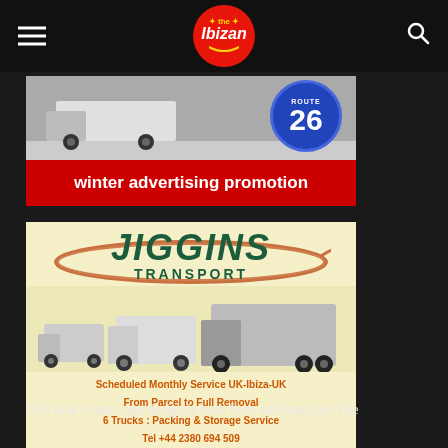The Ibizan
[Figure (photo): Winter advertising promotion banner with truck and Route 26 badge]
[Figure (illustration): Jiggins Transport advertisement with vans and trucks, showing scheduled monthly service UK-Ibiza-UK]
This boat's space age design is both form and function. The